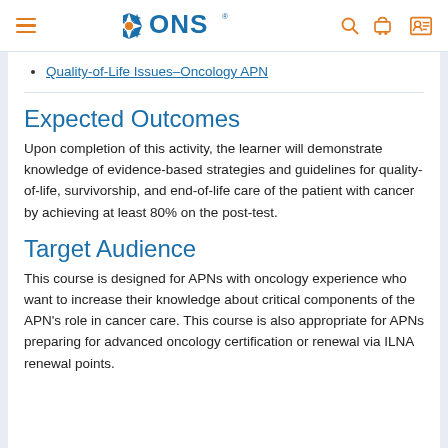ONS (Oncology Nursing Society) website header with menu, logo, search, cart, and profile icons
Quality-of-Life Issues—Oncology APN
Expected Outcomes
Upon completion of this activity, the learner will demonstrate knowledge of evidence-based strategies and guidelines for quality-of-life, survivorship, and end-of-life care of the patient with cancer by achieving at least 80% on the post-test.
Target Audience
This course is designed for APNs with oncology experience who want to increase their knowledge about critical components of the APN's role in cancer care. This course is also appropriate for APNs preparing for advanced oncology certification or renewal via ILNA renewal points.